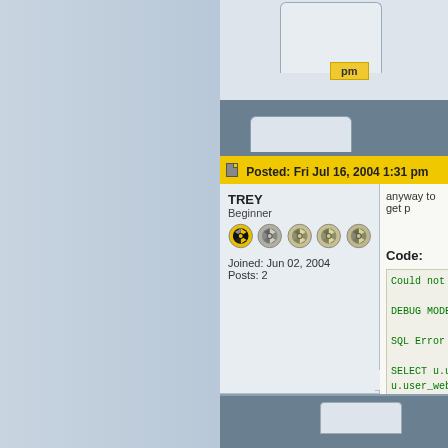[Figure (screenshot): Forum post screenshot showing a pm button in top area]
pm
Posted: Fri Jul 16, 2004 1:31 pm
TREY
Beginner
Joined: Jun 02, 2004
Posts: 2
anyway to get p
Code:
Could not c
DEBUG MODE
SQL Error :
SELECT u.us
u.user_webs
pmt.privmsg
pmt.privmsg
null,null,n
FROM phpbb_
) AND u.use
Line : 247
File : /ho